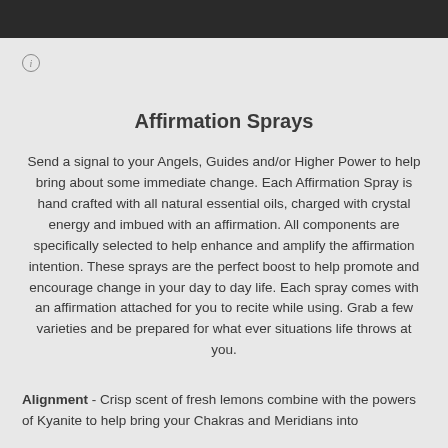[Figure (other): Dark header bar at top of page]
Affirmation Sprays
Send a signal to your Angels, Guides and/or Higher Power to help bring about some immediate change. Each Affirmation Spray is hand crafted with all natural essential oils, charged with crystal energy and imbued with an affirmation. All components are specifically selected to help enhance and amplify the affirmation intention. These sprays are the perfect boost to help promote and encourage change in your day to day life. Each spray comes with an affirmation attached for you to recite while using. Grab a few varieties and be prepared for what ever situations life throws at you.
Alignment - Crisp scent of fresh lemons combine with the powers of Kyanite to help bring your Chakras and Meridians into